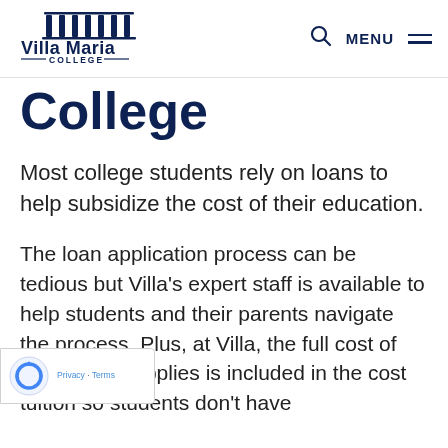[Figure (logo): Villa Maria College logo with building/columns icon above the text 'Villa Maria COLLEGE']
College
Most college students rely on loans to help subsidize the cost of their education.
The loan application process can be tedious but Villa's expert staff is available to help students and their parents navigate the process. Plus, at Villa, the full cost of books and supplies is included in the cost tuition so students don't have...